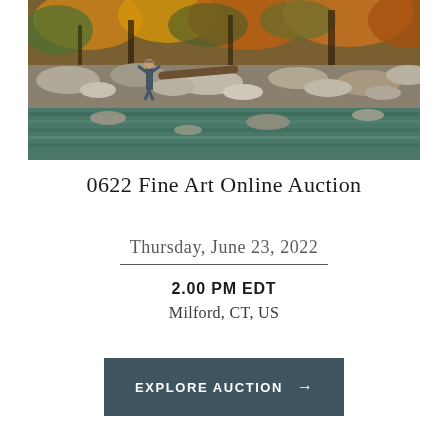[Figure (illustration): Oil painting of a river landscape scene with a person standing on rocks, autumn foliage in background with orange and yellow trees, teal river water with rocky banks]
0622 Fine Art Online Auction
Thursday, June 23, 2022
2.00 PM EDT
Milford, CT, US
EXPLORE AUCTION →